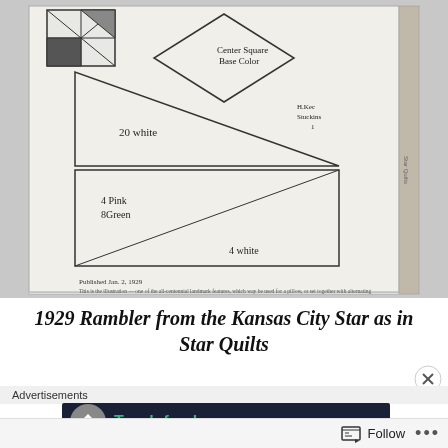[Figure (illustration): Photograph of a book page showing a 1929 quilt pattern diagram (Rambler from the Kansas City Star). The diagram shows geometric quilt pieces: a small quilt block preview in top left, a diamond shape labeled 'Center Square Base Color', a large right triangle labeled '20 white' with smaller annotation 'H.Kec Stuckins 1', a rectangle divided by a diagonal labeled '4 Pink 8 Green' and '4 white'. Bottom of page shows 'Published Jan. 2, 1929' and partial text. Book spine visible on right edge.]
1929 Rambler from the Kansas City Star as in Star Quilts
Advertisements
[Figure (screenshot): Advertisement banner with dark navy background, circular icon with arrow/house symbol, and green text reading 'Teach freely']
Follow